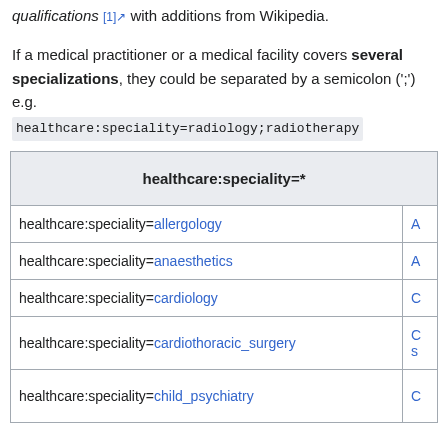qualifications [1] with additions from Wikipedia.
If a medical practitioner or a medical facility covers several specializations, they could be separated by a semicolon (';') e.g.
healthcare:speciality=radiology;radiotherapy
| healthcare:speciality=* |  |
| --- | --- |
| healthcare:speciality=allergology | A |
| healthcare:speciality=anaesthetics | A |
| healthcare:speciality=cardiology | C |
| healthcare:speciality=cardiothoracic_surgery | C s |
| healthcare:speciality=child_psychiatry | C |